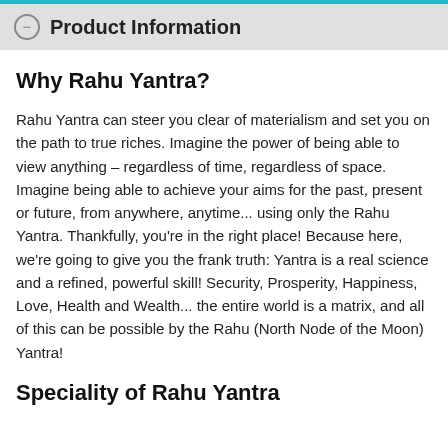Product Information
Why Rahu Yantra?
Rahu Yantra can steer you clear of materialism and set you on the path to true riches. Imagine the power of being able to view anything – regardless of time, regardless of space. Imagine being able to achieve your aims for the past, present or future, from anywhere, anytime... using only the Rahu Yantra. Thankfully, you're in the right place! Because here, we're going to give you the frank truth: Yantra is a real science and a refined, powerful skill! Security, Prosperity, Happiness, Love, Health and Wealth... the entire world is a matrix, and all of this can be possible by the Rahu (North Node of the Moon) Yantra!
Speciality of Rahu Yantra